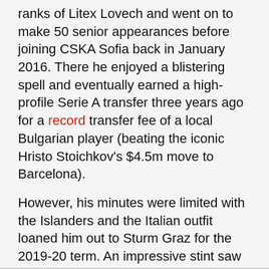ranks of Litex Lovech and went on to make 50 senior appearances before joining CSKA Sofia back in January 2016. There he enjoyed a blistering spell and eventually earned a high-profile Serie A transfer three years ago for a record transfer fee of a local Bulgarian player (beating the iconic Hristo Stoichkov's $4.5m move to Barcelona).
However, his minutes were limited with the Islanders and the Italian outfit loaned him out to Sturm Graz for the 2019-20 term. An impressive stint saw him joining Ludogorets Razgrad next season on an initial loan (with an option to buy) and his numbers in attack played a key role in the Eagles commanding league triumph.